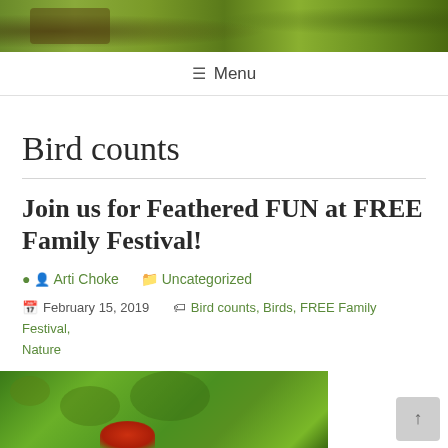[Figure (photo): Top banner image showing a nature/forest scene with green foliage]
Menu
Bird counts
Join us for Feathered FUN at FREE Family Festival!
Arti Choke   Uncategorized
February 15, 2019   Bird counts, Birds, FREE Family Festival, Nature
[Figure (photo): Green grass background with a red bird partially visible at bottom]